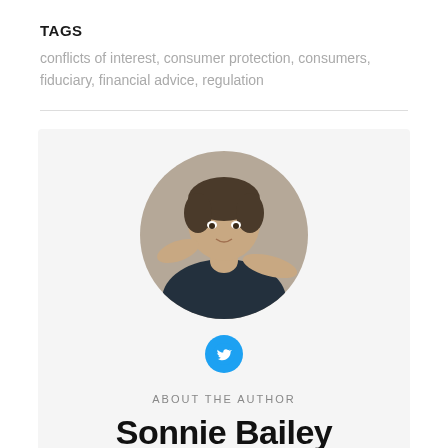TAGS
conflicts of interest, consumer protection, consumers, fiduciary, financial advice, regulation
[Figure (photo): Circular author photo of Sonnie Bailey, a man with short dark hair making a gesture with his hands against a light background]
[Figure (logo): Twitter/X social media icon button, circular cyan/blue background with white bird logo]
ABOUT THE AUTHOR
Sonnie Bailey